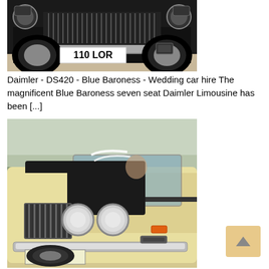[Figure (photo): Front close-up of a dark blue Daimler DS420 limousine showing front grille, headlights, and license plate reading '110 LOR']
Daimler - DS420 - Blue Baroness - Wedding car hire The magnificent Blue Baroness seven seat Daimler Limousine has been [...]
[Figure (photo): Front three-quarter view of a cream/ivory colored Daimler limousine with license plate 'LOR 99R', decorated with white ribbons, parked outdoors]